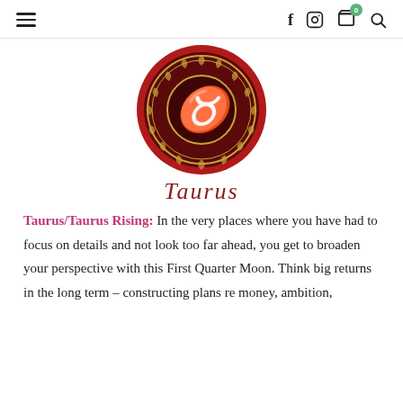≡   f  [instagram]  [cart 0]  [search]
[Figure (illustration): Circular Taurus zodiac symbol with dark red background and gold Taurus glyph in the center, surrounded by ornate border patterns]
Taurus
Taurus/Taurus Rising: In the very places where you have had to focus on details and not look too far ahead, you get to broaden your perspective with this First Quarter Moon. Think big returns in the long term – constructing plans re money, ambition,